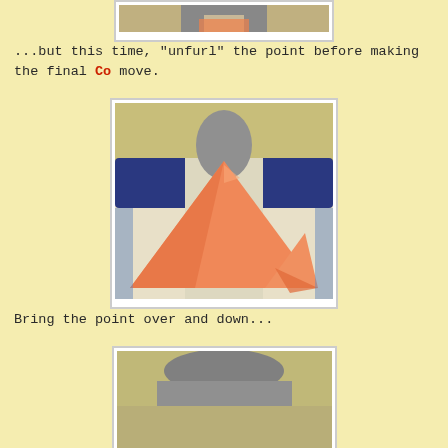[Figure (photo): Top of previous photo showing person wearing scarf, partially cropped at top of page]
...but this time, "unfurl" the point before making the final Co move.
[Figure (photo): Mannequin torso wearing a large orange/salmon triangular scarf draped over a scout-style uniform shirt]
Bring the point over and down...
[Figure (photo): Bottom portion of next step photo, partially visible at bottom of page]